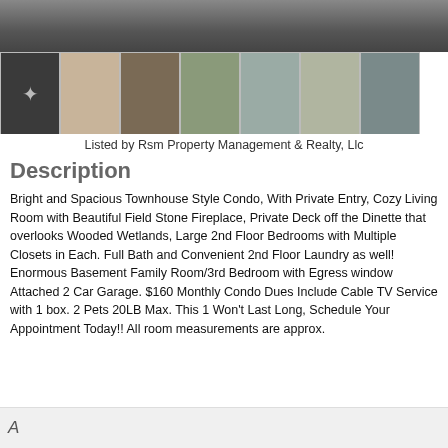[Figure (photo): Top photo strip showing interior/exterior of property, dark/gray toned wide image]
[Figure (photo): Row of 7 thumbnail photos of the property: dark room with star/light fixture, garage/interior, room with boxes, deck/railing, water/lake view, deck/patio, sliding glass door view]
Listed by Rsm Property Management & Realty, Llc
Description
Bright and Spacious Townhouse Style Condo, With Private Entry, Cozy Living Room with Beautiful Field Stone Fireplace, Private Deck off the Dinette that overlooks Wooded Wetlands, Large 2nd Floor Bedrooms with Multiple Closets in Each. Full Bath and Convenient 2nd Floor Laundry as well! Enormous Basement Family Room/3rd Bedroom with Egress window Attached 2 Car Garage. $160 Monthly Condo Dues Include Cable TV Service with 1 box. 2 Pets 20LB Max. This 1 Won't Last Long, Schedule Your Appointment Today!! All room measurements are approx.